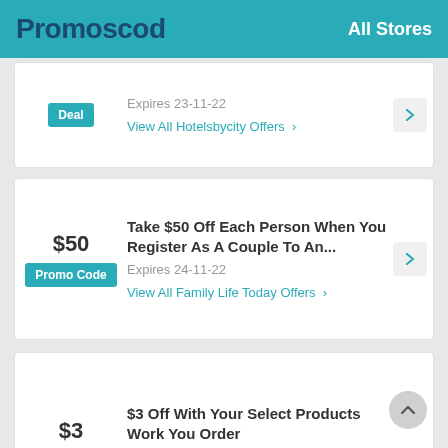Promoscod — All Stores
Expires 23-11-22
Deal
View All Hotelsbycity Offers
$50
Take $50 Off Each Person When You Register As A Couple To An...
Expires 24-11-22
Promo Code
View All Family Life Today Offers
$3
$3 Off With Your Select Products Work You Order
Expires 24-10-22
Promo Code
View All Conferences.oreilly.com Offers